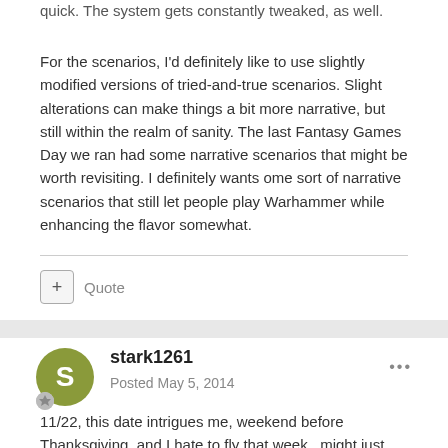quick. The system gets constantly tweaked, as well.
For the scenarios, I'd definitely like to use slightly modified versions of tried-and-true scenarios. Slight alterations can make things a bit more narrative, but still within the realm of sanity. The last Fantasy Games Day we ran had some narrative scenarios that might be worth revisiting. I definitely wants ome sort of narrative scenarios that still let people play Warhammer while enhancing the flavor somewhat.
Quote
stark1261
Posted May 5, 2014
11/22, this date intrigues me, weekend before Thanksgiving, and I hate to fly that week...might just need a Friday flight out, if I can paint the next 150 rats.